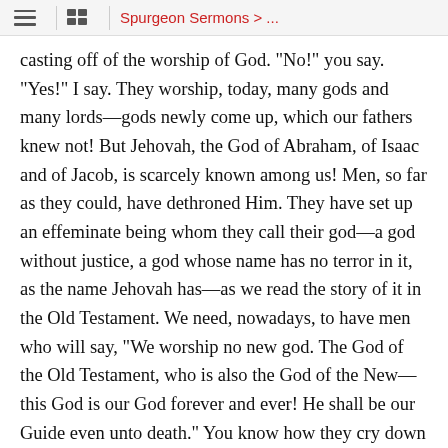Spurgeon Sermons > ...
casting off of the worship of God. "No!" you say. "Yes!" I say. They worship, today, many gods and many lords—gods newly come up, which our fathers knew not! But Jehovah, the God of Abraham, of Isaac and of Jacob, is scarcely known among us! Men, so far as they could, have dethroned Him. They have set up an effeminate being whom they call their god—a god without justice, a god whose name has no terror in it, as the name Jehovah has—as we read the story of it in the Old Testament. We need, nowadays, to have men who will say, "We worship no new god. The God of the Old Testament, who is also the God of the New—this God is our God forever and ever! He shall be our Guide even unto death." You know how they cry down Jehovah. They will not have Him! At least they will not have Him on His throne. His sovereignty is a thing that is scoffed